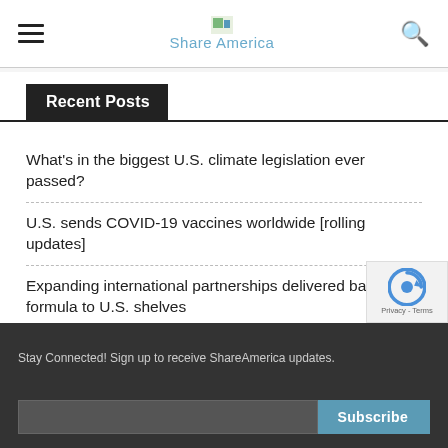Share America
Recent Posts
What's in the biggest U.S. climate legislation ever passed?
U.S. sends COVID-19 vaccines worldwide [rolling updates]
Expanding international partnerships delivered baby formula to U.S. shelves
Helping farmers in Syria tackle the food crisis
Working to deliver a truly worldwide web
Stay Connected! Sign up to receive ShareAmerica updates.